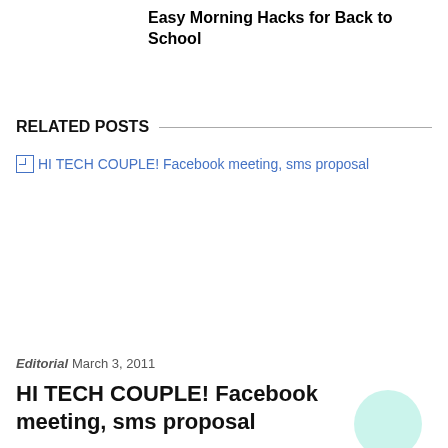Easy Morning Hacks for Back to School
RELATED POSTS
[Figure (other): Broken image placeholder with link text: HI TECH COUPLE! Facebook meeting, sms proposal]
Editorial March 3, 2011
HI TECH COUPLE! Facebook meeting, sms proposal